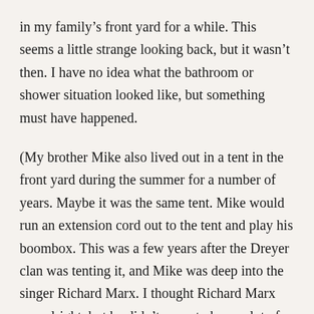in my family's front yard for a while. This seems a little strange looking back, but it wasn't then. I have no idea what the bathroom or shower situation looked like, but something must have happened.
(My brother Mike also lived out in a tent in the front yard during the summer for a number of years. Maybe it was the same tent. Mike would run an extension cord out to the tent and play his boombox. This was a few years after the Dreyer clan was tenting it, and Mike was deep into the singer Richard Marx. I thought Richard Marx was alright, but he didn't seem to have a lot of songs. This mattered not at all to Mike who played the